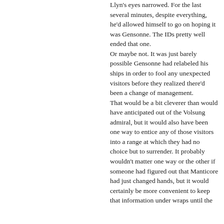Llyn's eyes narrowed. For the last several minutes, despite everything, he'd allowed himself to go on hoping it was Gensonne. The IDs pretty well ended that one. Or maybe not. It was just barely possible Gensonne had relabeled his ships in order to fool any unexpected visitors before they realized there'd been a change of management. That would be a bit cleverer than would have anticipated out of the Volsung admiral, but it would also have been one way to entice any of those visitors into a range at which they had no choice but to surrender. It probably wouldn't matter one way or the other if someone had figured out that Manticore had just changed hands, but it would certainly be more convenient to keep that information under wraps until the